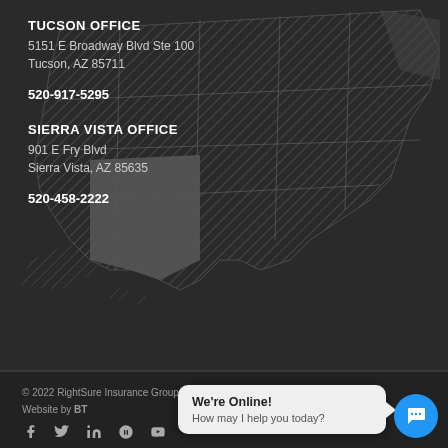[Figure (map): Dark background map of the United States with hatched/striped pattern overlay covering western states region]
TUCSON OFFICE
5151 E Broadway Blvd Ste 100
Tucson, AZ 85711
520-917-5295
SIERRA VISTA OFFICE
901 E Fry Blvd
Sierra Vista, AZ 85635
520-458-2222
© 2022 RightSure Insurance Group | Privacy | Disclaimer | Website by BT
We're Online! How may I help you today?